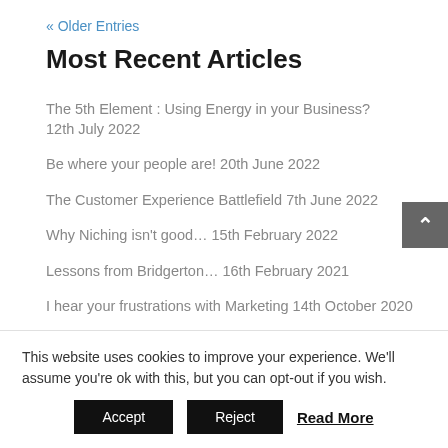« Older Entries
Most Recent Articles
The 5th Element : Using Energy in your Business? 12th July 2022
Be where your people are! 20th June 2022
The Customer Experience Battlefield 7th June 2022
Why Niching isn't good… 15th February 2022
Lessons from Bridgerton… 16th February 2021
I hear your frustrations with Marketing 14th October 2020
ITI Ep.0017 : How do you decide which Social Media Platform to be on 11th September 2020
This website uses cookies to improve your experience. We'll assume you're ok with this, but you can opt-out if you wish.
Accept   Reject   Read More